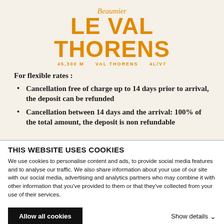Beaumier LE VAL THORENS VAL THORENS
For flexible rates :
Cancellation free of charge up to 14 days prior to arrival, the deposit can be refunded
Cancellation between 14 days and the arrival: 100% of the total amount, the deposit is non refundable
THIS WEBSITE USES COOKIES
We use cookies to personalise content and ads, to provide social media features and to analyse our traffic. We also share information about your use of our site with our social media, advertising and analytics partners who may combine it with other information that you've provided to them or that they've collected from your use of their services.
Allow all cookies
Show details